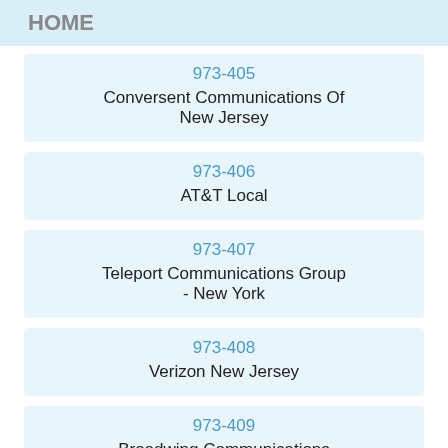HOME
973-405
Conversent Communications Of New Jersey
973-406
AT&T Local
973-407
Teleport Communications Group - New York
973-408
Verizon New Jersey
973-409
Broadwing Communications